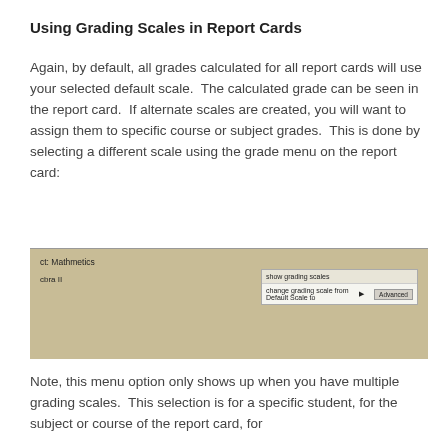Using Grading Scales in Report Cards
Again, by default, all grades calculated for all report cards will use your selected default scale.  The calculated grade can be seen in the report card.  If alternate scales are created, you will want to assign them to specific course or subject grades.  This is done by selecting a different scale using the grade menu on the report card:
[Figure (screenshot): Screenshot of a report card interface showing subject 'Mathmetics', row for 'Algebra II' with grade 86.0% and grade B, and a dropdown menu showing options 'show grading scales' and 'change grading scale from Default Scale to' with an 'Advanced' button.]
Note, this menu option only shows up when you have multiple grading scales.  This selection is for a specific student, for the subject or course of the report card, for